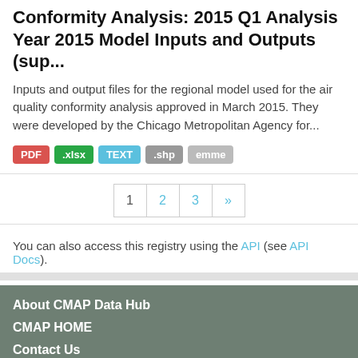Conformity Analysis: 2015 Q1 Analysis Year 2015 Model Inputs and Outputs (sup...
Inputs and output files for the regional model used for the air quality conformity analysis approved in March 2015. They were developed by the Chicago Metropolitan Agency for...
PDF .xlsx TEXT .shp emme
1 2 3 »
You can also access this registry using the API (see API Docs).
About CMAP Data Hub
CMAP HOME
Contact Us
Language: English